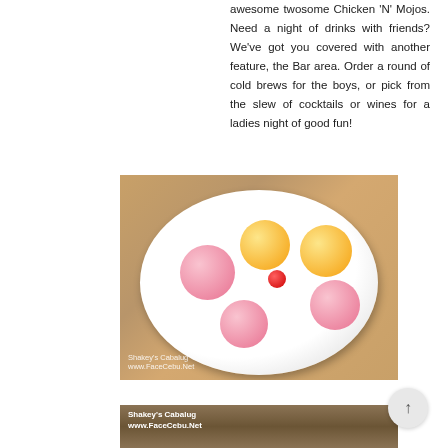awesome twosome Chicken 'N' Mojos. Need a night of drinks with friends? We've got you covered with another feature, the Bar area. Order a round of cold brews for the boys, or pick from the slew of cocktails or wines for a ladies night of good fun!
[Figure (photo): Top-down view of a white plate with multiple scoops of pink and yellow ice cream, drizzled with orange and strawberry sauce, topped with a cherry in the center. Watermark reads: Shakey's Cabalug www.FaceCebu.Net]
[Figure (photo): Partial view of another food photo from Shakey's Cabalug, watermark visible: Shakey's Cabalug www.FaceCebu.Net]